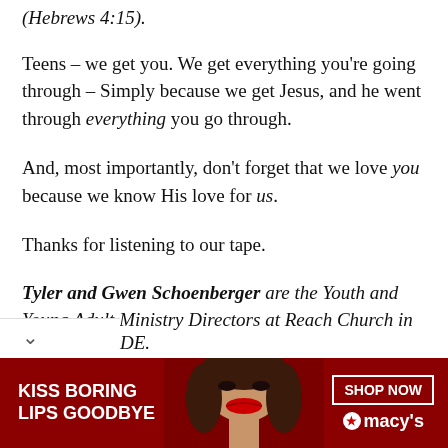(Hebrews 4:15).
Teens – we get you. We get everything you're going through – Simply because we get Jesus, and he went through everything you go through.
And, most importantly, don't forget that we love you because we know His love for us.
Thanks for listening to our tape.
Tyler and Gwen Schoenberger are the Youth and Young Adult Ministry Directors at Reach Church in DE.
[Figure (photo): Advertisement banner for Macy's with text 'KISS BORING LIPS GOODBYE' and 'SHOP NOW' button with Macy's star logo, showing a woman's face with red lips.]